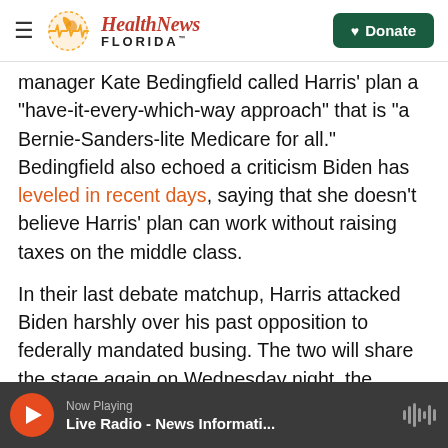Health News Florida — Donate
manager Kate Bedingfield called Harris' plan a "have-it-every-which-way approach" that is "a Bernie-Sanders-lite Medicare for all." Bedingfield also echoed a criticism Biden has leveled in recent days, saying that she doesn't believe Harris' plan can work without raising taxes on the middle class.
In their last debate matchup, Harris attacked Biden harshly over his past opposition to federally mandated busing. The two will share the stage again on Wednesday night, the second night of this week's debate. Biden has promised he's "not going to be as polite" this time.
Now Playing — Live Radio - News Informati...